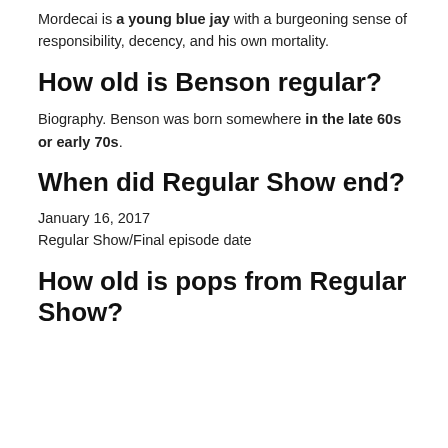Mordecai is a young blue jay with a burgeoning sense of responsibility, decency, and his own mortality.
How old is Benson regular?
Biography. Benson was born somewhere in the late 60s or early 70s.
When did Regular Show end?
January 16, 2017
Regular Show/Final episode date
How old is pops from Regular Show?